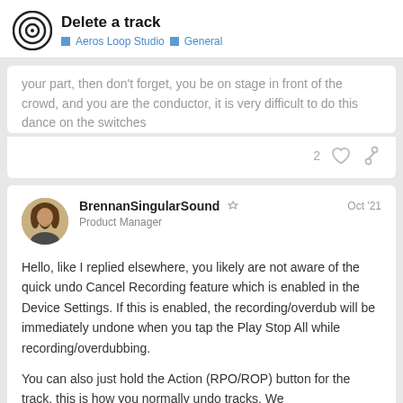Delete a track | Aeros Loop Studio | General
your part, then don't forget, you be on stage in front of the crowd, and you are the conductor, it is very difficult to do this dance on the switches
2 ♡ 🔗
BrennanSingularSound 🛡 Product Manager — Oct '21
Hello, like I replied elsewhere, you likely are not aware of the quick undo Cancel Recording feature which is enabled in the Device Settings. If this is enabled, the recording/overdub will be immediately undone when you tap the Play Stop All while recording/overdubbing.
You can also just hold the Action (RPO/ROP) button for the track, this is how you normally undo tracks. We